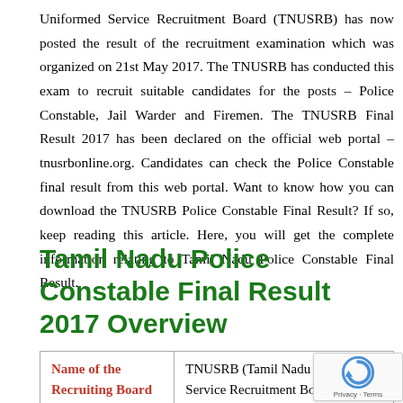Uniformed Service Recruitment Board (TNUSRB) has now posted the result of the recruitment examination which was organized on 21st May 2017. The TNUSRB has conducted this exam to recruit suitable candidates for the posts – Police Constable, Jail Warder and Firemen. The TNUSRB Final Result 2017 has been declared on the official web portal – tnusrbonline.org. Candidates can check the Police Constable final result from this web portal. Want to know how you can download the TNUSRB Police Constable Final Result? If so, keep reading this article. Here, you will get the complete information relating to Tamil Nadu Police Constable Final Result.
Tamil Nadu Police Constable Final Result 2017 Overview
| Name of the Recruiting Board |  |
| --- | --- |
| Name of the Recruiting Board | TNUSRB (Tamil Nadu Uniformed Service Recruitment Board) |